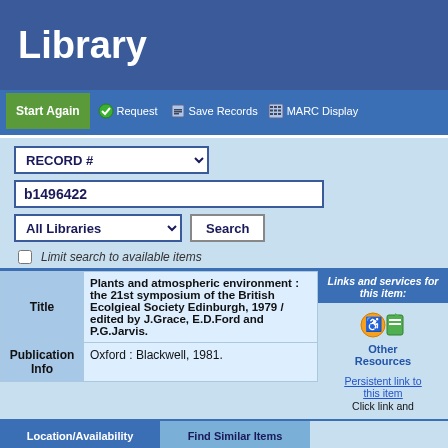Library
Start Again   Request   Save Records   MARC Display
RECORD #
b1496422
All Libraries
Limit search to available items
| Field | Value |
| --- | --- |
| Title | Plants and atmospheric environment : the 21st symposium of the British Ecolgieal Society Edinburgh, 1979 / edited by J.Grace, E.D.Ford and P.G.Jarvis. |
| Publication Info | Oxford : Blackwell, 1981. |
Links and services for this item:
Other Resources
Persistent link to this item
Click link and
Location/Availability   Find Similar Items